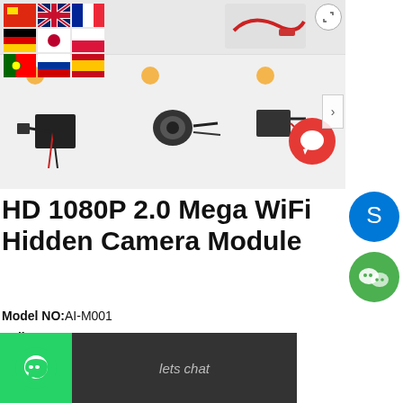[Figure (photo): E-commerce product listing page for HD 1080P 2.0 Mega WiFi Hidden Camera Module showing multiple product images, flag language selectors, social chat buttons (chat bubble, Skype, WeChat, WhatsApp), and product specification details.]
HD 1080P 2.0 Mega WiFi Hidden Camera Module
Model NO:AI-M001
Delivery:EXW
Minimum order quantity:1 set
Supply Ability:/Month
Country of Origin:Shenzhen,China
Stock Time:15 Days